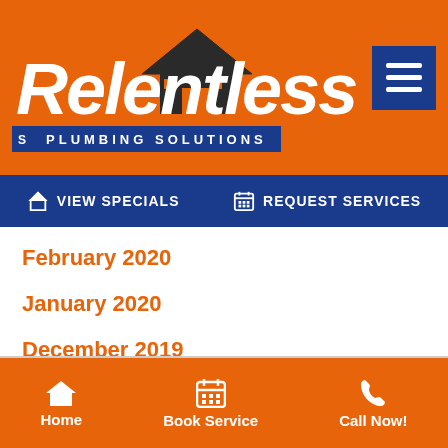[Figure (logo): Relentless Plumbing Solutions logo with house/roof graphic, white italic bold text on orange background, blue bar with company name]
[Figure (other): Hamburger menu button (three white lines) on blue square background]
VIEW SPECIALS
REQUEST SERVICES
February 2020
January 2020
December 2019
November 2019
October 2019
[Figure (other): Accessibility wheelchair icon in green circle]
Home
Book Service
Call Now!